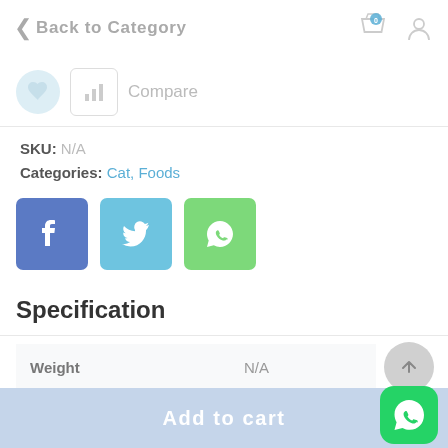< Back to Category
[Figure (screenshot): Compare button with bar chart icon and text 'Compare']
SKU: N/A
Categories: Cat, Foods
[Figure (infographic): Social share icons: Facebook (blue), Twitter (light blue), WhatsApp (green)]
Specification
| Weight | N/A |
| --- | --- |
Add to cart